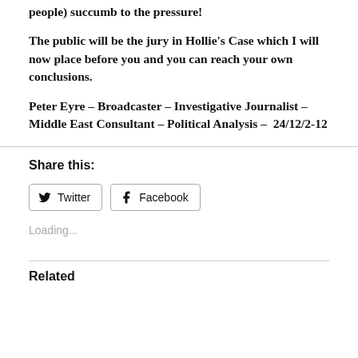people) succumb to the pressure!
The public will be the jury in Hollie's Case which I will now place before you and you can reach your own conclusions.
Peter Eyre – Broadcaster – Investigative Journalist – Middle East Consultant – Political Analysis –  24/12/2-12
Share this:
Twitter
Facebook
Loading...
Related